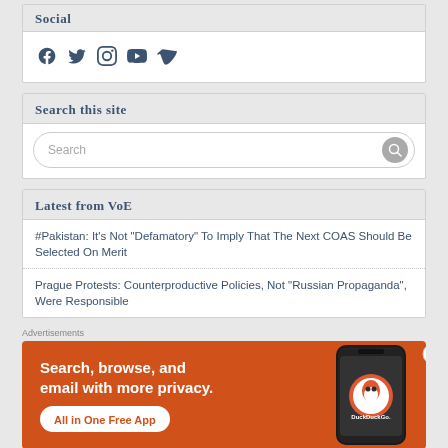Social
[Figure (illustration): Social media icons: Facebook, Twitter, Instagram, YouTube, Vimeo in dark blue]
Search this site
Search
Latest from VoE
#Pakistan: It's Not "Defamatory" To Imply That The Next COAS Should Be Selected On Merit
Prague Protests: Counterproductive Policies, Not "Russian Propaganda", Were Responsible
Advertisements
[Figure (illustration): DuckDuckGo advertisement banner: orange background with white text 'Search, browse, and email with more privacy.' and 'All in One Free App' button, with phone image showing DuckDuckGo logo]